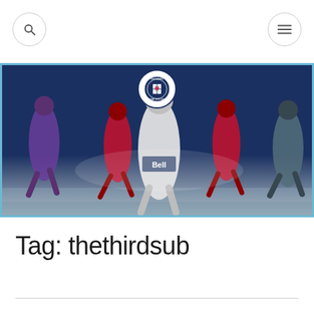[Figure (screenshot): Search button circle top-left of webpage]
[Figure (screenshot): Hamburger menu button circle top-right of webpage]
[Figure (photo): Banner image for 'Between the Sticks' soccer blog showing five soccer players in various uniforms against a dark navy background, with a circular logo at the top center]
Tag: thethirdsub